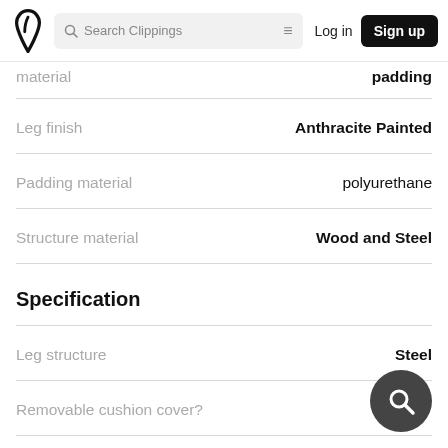Search Clippings | Log in | Sign up
| Attribute | Value |
| --- | --- |
| material | padding |
| Leg finish | Anthracite Painted |
| Padding material | polyurethane |
| Structure material | Wood and Steel |
Specification
| Attribute | Value |
| --- | --- |
| Leg structure | Steel |
| Removable cushion cover? |  |